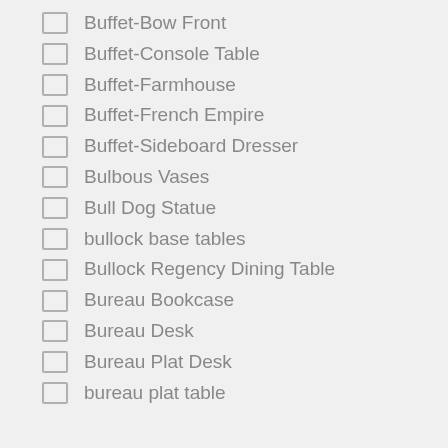Buffet-Bow Front
Buffet-Console Table
Buffet-Farmhouse
Buffet-French Empire
Buffet-Sideboard Dresser
Bulbous Vases
Bull Dog Statue
bullock base tables
Bullock Regency Dining Table
Bureau Bookcase
Bureau Desk
Bureau Plat Desk
bureau plat table